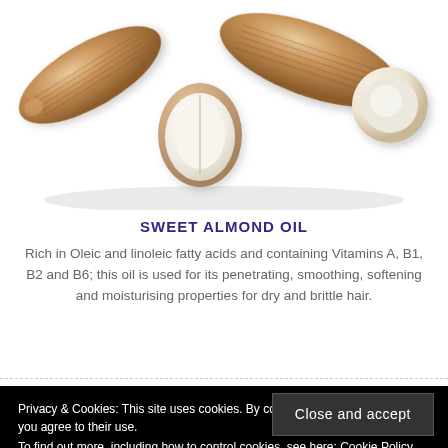[Figure (photo): Close-up photo of several almonds, some whole in their brown shell and one split open showing the white interior, arranged together on a white background.]
SWEET ALMOND OIL
Rich in Oleic and linoleic fatty acids and containing Vitamins A, B1, B2 and B6; this oil is used for its penetrating, smoothing, softening and moisturising properties for dry and brittle hair.
Privacy & Cookies: This site uses cookies. By continuing to use this website, you agree to their use.
To find out more, including how to control cookies, see here: Cookie Policy
Close and accept